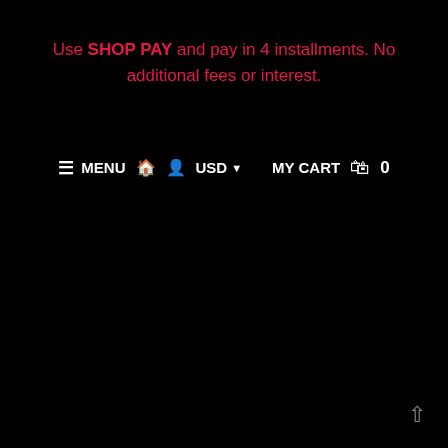Use SHOP PAY and pay in 4 installments. No additional fees or interest.
≡ MENU  🏠  👤  USD ▾  MY CART 🛍 0